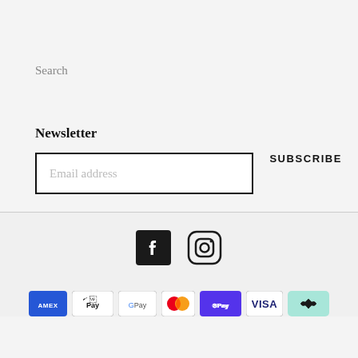Search
Newsletter
Email address
SUBSCRIBE
[Figure (logo): Social media icons: Facebook and Instagram]
[Figure (logo): Payment method icons: American Express, Apple Pay, Google Pay, Mastercard, Shop Pay, Visa, and a cashback/rewards icon]